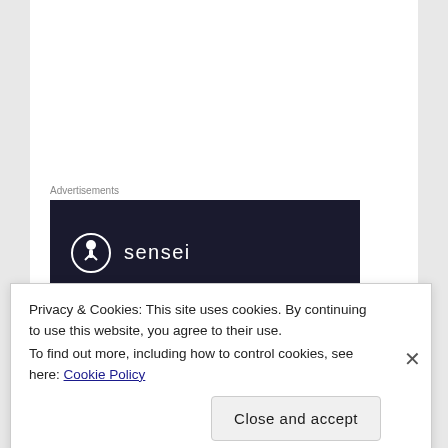Advertisements
[Figure (logo): Sensei logo on dark navy background — a white circle with a tree/person icon inside, followed by the word 'sensei' in white sans-serif text]
You should Eat THIS!
Foods high in iron. Eating leafy green vegetables, fish, and lean meat like liver can help offset your risk of anemia. Many breakfast cereals are also fortified with
Privacy & Cookies: This site uses cookies. By continuing to use this website, you agree to their use.
To find out more, including how to control cookies, see here: Cookie Policy
Close and accept